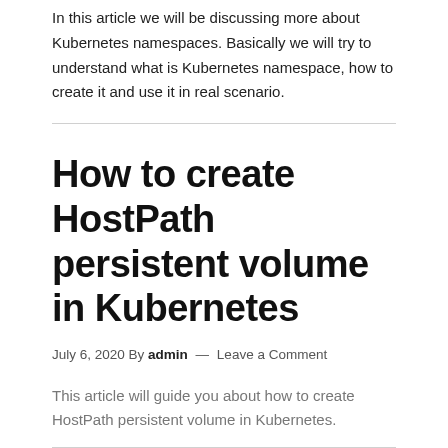In this article we will be discussing more about Kubernetes namespaces. Basically we will try to understand what is Kubernetes namespace, how to create it and use it in real scenario.
How to create HostPath persistent volume in Kubernetes
July 6, 2020 By admin — Leave a Comment
This article will guide you about how to create HostPath persistent volume in Kubernetes.